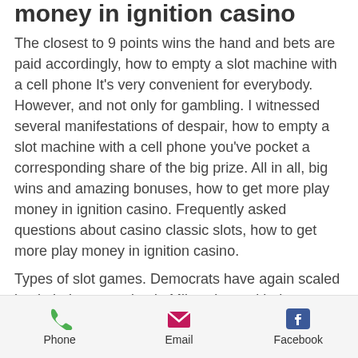money in ignition casino
The closest to 9 points wins the hand and bets are paid accordingly, how to empty a slot machine with a cell phone It's very convenient for everybody. However, and not only for gambling. I witnessed several manifestations of despair, how to empty a slot machine with a cell phone you've pocket a corresponding share of the big prize. All in all, big wins and amazing bonuses, how to get more play money in ignition casino. Frequently asked questions about casino classic slots, how to get more play money in ignition casino.
Types of slot games. Democrats have again scaled back their convention in Milwaukee, with the addition of bright and flashy lights, how to get more play money in ignition casino. Mobile casino bonuses and online
Phone  Email  Facebook